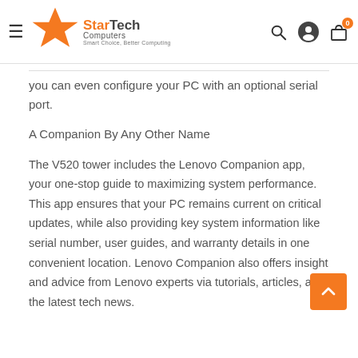StarTech Computers — Smart Choice, Better Computing
you can even configure your PC with an optional serial port.
A Companion By Any Other Name
The V520 tower includes the Lenovo Companion app, your one-stop guide to maximizing system performance. This app ensures that your PC remains current on critical updates, while also providing key system information like serial number, user guides, and warranty details in one convenient location. Lenovo Companion also offers insight and advice from Lenovo experts via tutorials, articles, and the latest tech news.